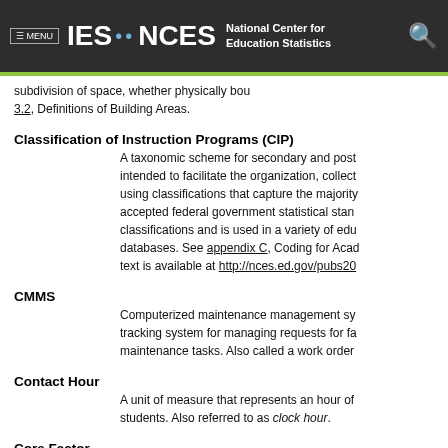IES · NCES National Center for Education Statistics
subdivision of space, whether physically bou... 3.2, Definitions of Building Areas.
Classification of Instruction Programs (CIP)
A taxonomic scheme for secondary and post... intended to facilitate the organization, collect... using classifications that capture the majority... accepted federal government statistical stan... classifications and is used in a variety of edu... databases. See appendix C, Coding for Acad... text is available at http://nces.ed.gov/pubs20
CMMS
Computerized maintenance management sy... tracking system for managing requests for fa... maintenance tasks. Also called a work order
Contact Hour
A unit of measure that represents an hour of... students. Also referred to as clock hour.
Core Factor
In commercial space measurement systems,... each floor that is not part of a tenant's own s